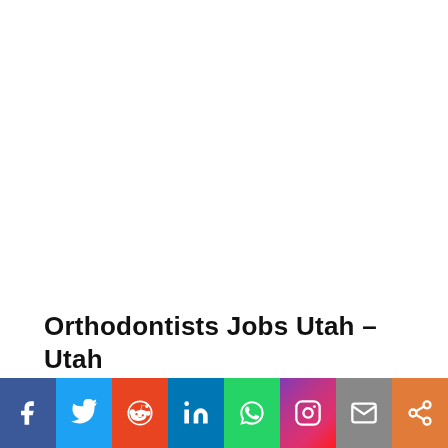Orthodontists Jobs Utah – Utah Orthodontists Salary 2022
View Orthodontists Jobs in Utah
[Figure (infographic): Social media sharing bar with icons: Facebook, Twitter, Reddit, LinkedIn, WhatsApp, Instagram, Email, Share]